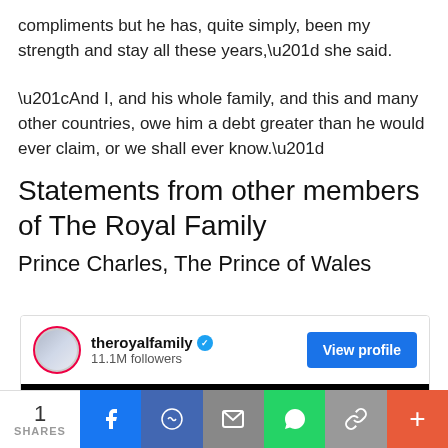compliments but he has, quite simply, been my strength and stay all these years,” she said.
“And I, and his whole family, and this and many other countries, owe him a debt greater than he would ever claim, or we shall ever know.”
Statements from other members of The Royal Family
Prince Charles, The Prince of Wales
[Figure (screenshot): Social media embed showing theroyalfamily account with 11.1M followers, verified badge, View profile button, and a black image below]
1 SHARES | Facebook | Messenger | Email | WhatsApp | Link | More